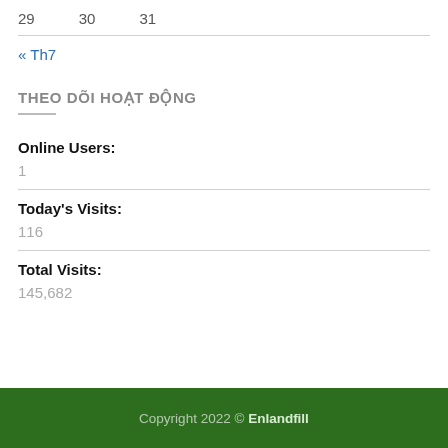29   30   31
« Th7
THEO DÕI HOẠT ĐỘNG
Online Users:
1
Today's Visits:
116
Total Visits:
145,682
Copyright 2022 © Enlandfill